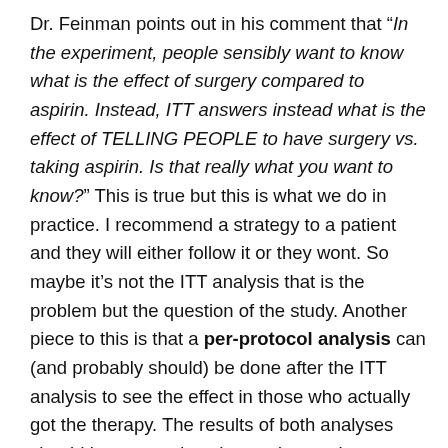Dr. Feinman points out in his comment that “In the experiment, people sensibly want to know what is the effect of surgery compared to aspirin. Instead, ITT answers instead what is the effect of TELLING PEOPLE to have surgery vs. taking aspirin. Is that really what you want to know?” This is true but this is what we do in practice. I recommend a strategy to a patient and they will either follow it or they wont. So maybe it’s not the ITT analysis that is the problem but the question of the study. Another piece to this is that a per-protocol analysis can (and probably should) be done after the ITT analysis to see the effect in those who actually got the therapy. The results of both analyses should be reported so the reader can better understand the results. Data on dropout/noncompliant patient demographics/comorbidities/etc needs to also be reported